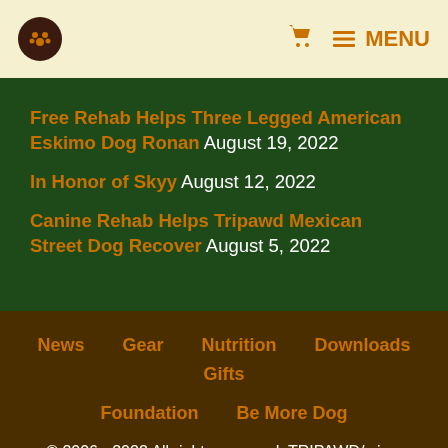Tripawds logo | cart icon | MENU
Free Rehab Helps Three Legged American Eskimo Dog Ronan August 19, 2022
In Honor of Skyy August 12, 2022
Canine Rehab Helps Tripawd Mexican Street Dog Recover August 5, 2022
News   Gear   Nutrition   Downloads   Gifts   Foundation   Be More Dog
© 2006 - 2022 All rights reserved. TRIPAWD/s is a registered trademark.
Spam Protection by Akismet
Tripawds Gear is brought to you by Tripawds.